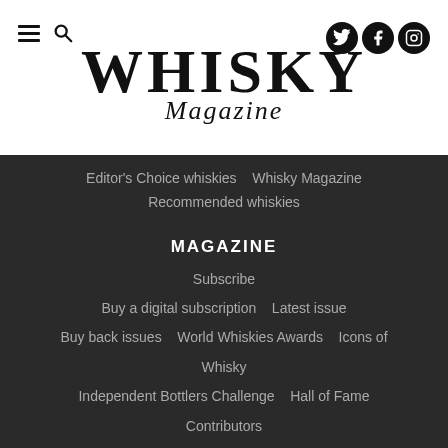[Figure (logo): Whisky Magazine logo with hamburger menu, search icon, and social media icons (Twitter, Facebook, Instagram)]
Editor's Choice whiskies   Whisky Magazine Recommended whiskies
MAGAZINE
Subscribe
Buy a digital subscription   Latest issue
Buy back issues   World Whiskies Awards   Icons of Whisky
Independent Bottlers Challenge   Hall of Fame
Contributors
CONTACT US